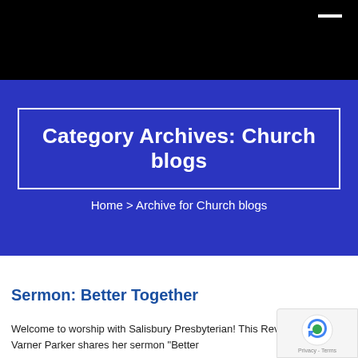[Figure (other): Black header bar with a white horizontal dash/line in the top-right corner, serving as a website navigation header.]
Category Archives: Church blogs
Home > Archive for Church blogs
Sermon: Better Together
Welcome to worship with Salisbury Presbyterian! This Rev. Crystal Varner Parker shares her sermon “Better